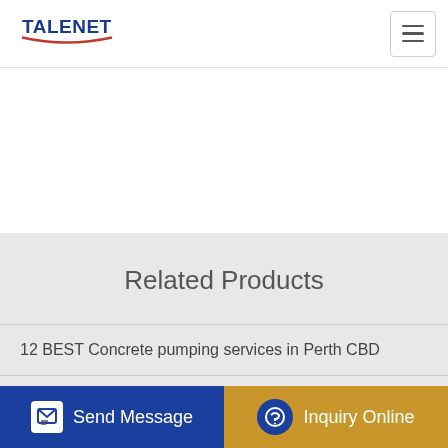TALENET
Related Products
12 BEST Concrete pumping services in Perth CBD
2005 INTERNATIONAL PAYSTAR CONCRETE MIXER
Used 42M Portable Truck Mounted Concrete Pump
High Accurate BLD1600 Serious Concrete Batching